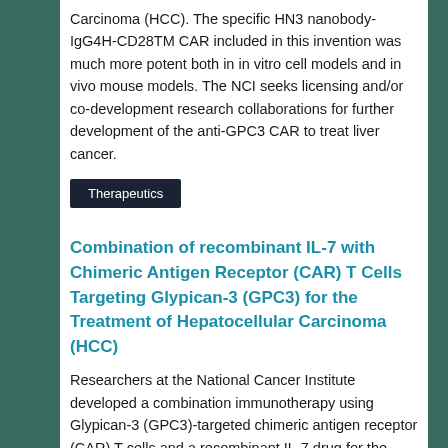Carcinoma (HCC). The specific HN3 nanobody-IgG4H-CD28TM CAR included in this invention was much more potent both in in vitro cell models and in vivo mouse models. The NCI seeks licensing and/or co-development research collaborations for further development of the anti-GPC3 CAR to treat liver cancer.
Therapeutics
Combination of recombinant IL-7 with Chimeric Antigen Receptor (CAR) T Cells Targeting Glypican-3 (GPC3) for the Treatment of Hepatocellular Carcinoma (HCC)
Researchers at the National Cancer Institute developed a combination immunotherapy using Glypican-3 (GPC3)-targeted chimeric antigen receptor (CAR) T cells and a recombinant IL-7 drug for the treatment of hepatocellular carcinoma (HCC).
Therapeutics